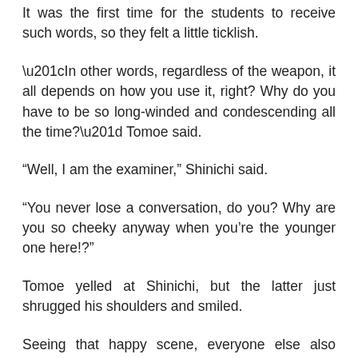It was the first time for the students to receive such words, so they felt a little ticklish.
“In other words, regardless of the weapon, it all depends on how you use it, right? Why do you have to be so long-winded and condescending all the time?” Tomoe said.
“Well, I am the examiner,” Shinichi said.
“You never lose a conversation, do you? Why are you so cheeky anyway when you’re the younger one here!?”
Tomoe yelled at Shinichi, but the latter just shrugged his shoulders and smiled.
Seeing that happy scene, everyone else also smiled.